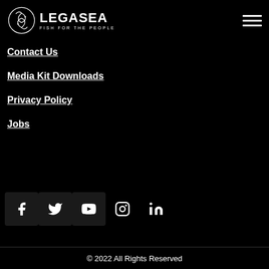LegaSea — Fish For The People
Contact Us
Media Kit Downloads
Privacy Policy
Jobs
[Figure (infographic): Social media icons row: Facebook, Twitter, YouTube, Instagram, LinkedIn]
© 2022 All Rights Reserved